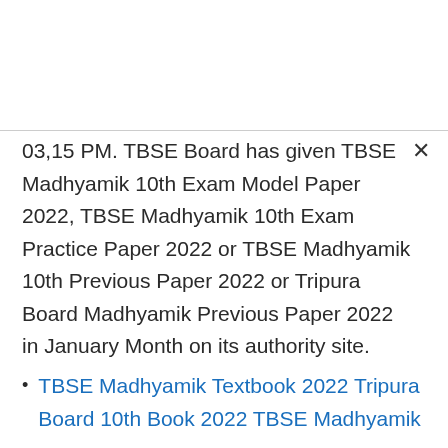03,15 PM. TBSE Board has given TBSE Madhyamik 10th Exam Model Paper 2022, TBSE Madhyamik 10th Exam Practice Paper 2022 or TBSE Madhyamik 10th Previous Paper 2022 or Tripura Board Madhyamik Previous Paper 2022 in January Month on its authority site.
TBSE Madhyamik Textbook 2022 Tripura Board 10th Book 2022 TBSE Madhyamik